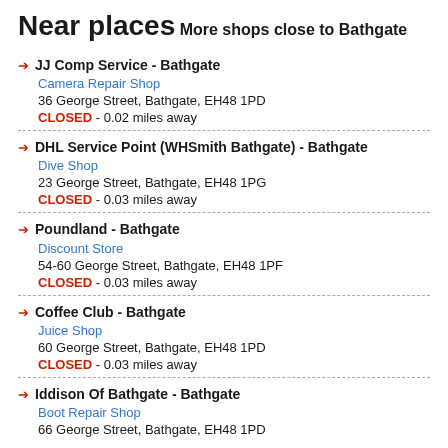Near places
More shops close to Bathgate
JJ Comp Service - Bathgate | Camera Repair Shop | 36 George Street, Bathgate, EH48 1PD | CLOSED - 0.02 miles away
DHL Service Point (WHSmith Bathgate) - Bathgate | Dive Shop | 23 George Street, Bathgate, EH48 1PG | CLOSED - 0.03 miles away
Poundland - Bathgate | Discount Store | 54-60 George Street, Bathgate, EH48 1PF | CLOSED - 0.03 miles away
Coffee Club - Bathgate | Juice Shop | 60 George Street, Bathgate, EH48 1PD | CLOSED - 0.03 miles away
Iddison Of Bathgate - Bathgate | Boot Repair Shop | 66 George Street, Bathgate, EH48 1PD